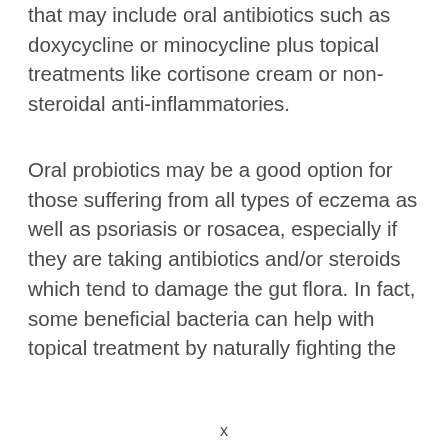that may include oral antibiotics such as doxycycline or minocycline plus topical treatments like cortisone cream or non-steroidal anti-inflammatories.
Oral probiotics may be a good option for those suffering from all types of eczema as well as psoriasis or rosacea, especially if they are taking antibiotics and/or steroids which tend to damage the gut flora. In fact, some beneficial bacteria can help with topical treatment by naturally fighting the
x